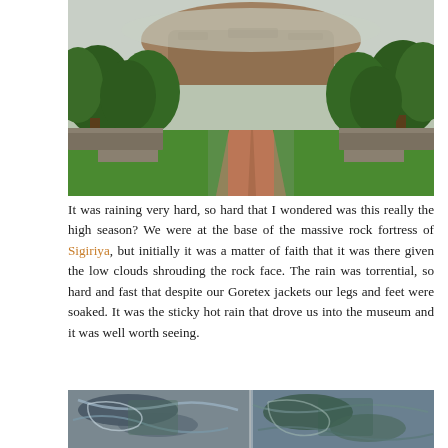[Figure (photo): View of Sigiriya rock fortress from below, showing a wide red-brick pathway leading toward the massive rock formation in the background, surrounded by lush green trees. The sky is overcast and misty, partially obscuring the top of the rock. In the foreground are ancient stone walls and green lawns.]
It was raining very hard, so hard that I wondered was this really the high season? We were at the base of the massive rock fortress of Sigiriya, but initially it was a matter of faith that it was there given the low clouds shrouding the rock face. The rain was torrential, so hard and fast that despite our Goretex jackets our legs and feet were soaked. It was the sticky hot rain that drove us into the museum and it was well worth seeing.
[Figure (photo): Close-up photograph of ancient rock art or fresco fragments, showing painted figures and patterns on stone. The colors include blues, greens, and earth tones on a gray stone surface.]